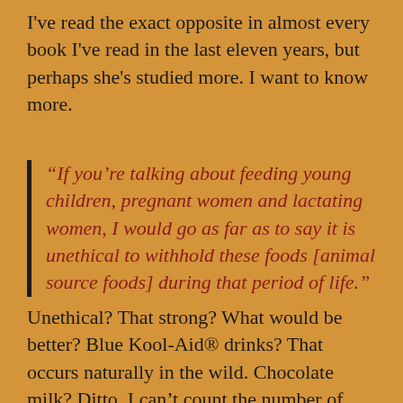I've read the exact opposite in almost every book I've read in the last eleven years, but perhaps she's studied more. I want to know more.
“If you’re talking about feeding young children, pregnant women and lactating women, I would go as far as to say it is unethical to withhold these foods [animal source foods] during that period of life.”
Unethical? That strong? What would be better? Blue Kool-Aid® drinks? That occurs naturally in the wild. Chocolate milk? Ditto. I can’t count the number of times I’ve driven by